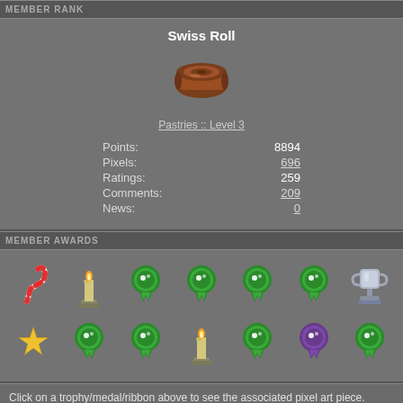MEMBER RANK
Swiss Roll
[Figure (illustration): Pixel art of a swiss roll cake (brown rolled pastry)]
Pastries :: Level 3
| Points: | 8894 |
| Pixels: | 696 |
| Ratings: | 259 |
| Comments: | 209 |
| News: | 0 |
MEMBER AWARDS
[Figure (illustration): Two rows of pixel art awards: candy cane, candle, four green ribbons, trophy in row 1; gold star, two green ribbons, candle, three green ribbons in row 2]
Click on a trophy/medal/ribbon above to see the associated pixel art piece.